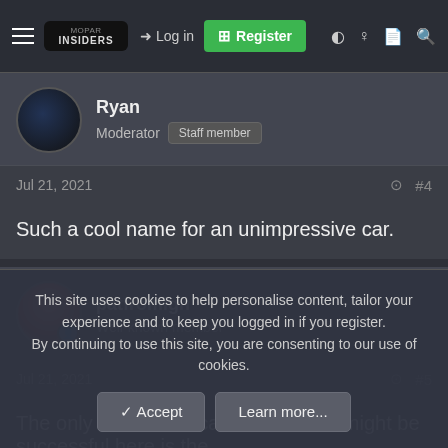Mopar Insiders — Log in | Register
Ryan
Moderator  Staff member
Jul 21, 2021  #4
Such a cool name for an unimpressive car.
patfromigh
Well-known member
Jul 21, 2021  #5
The only Latin American vehicle that might be successful here is the
This site uses cookies to help personalise content, tailor your experience and to keep you logged in if you register.
By continuing to use this site, you are consenting to our use of cookies.
Accept  Learn more...